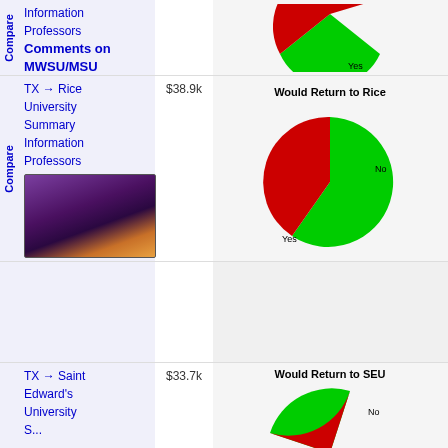Information
Professors
Comments on MWSU/MSU
Getting In
[Figure (pie-chart): Would Return (MWSU/MSU)]
TX → Rice University
Summary
Information
Professors
Comments on Rice
Getting In
$38.9k
[Figure (pie-chart): Would Return to Rice]
[Figure (photo): Rice University building at night with purple and orange lighting]
TX → Saint Edward's University
Summary
$33.7k
[Figure (pie-chart): Would Return to SEU]